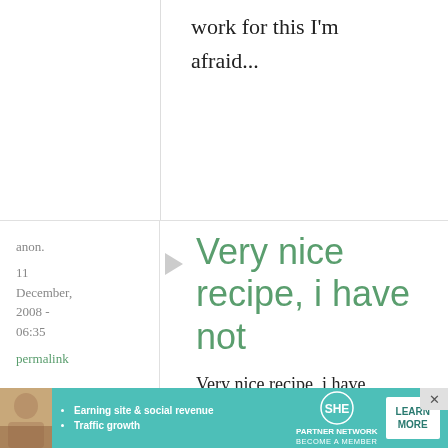work for this I'm afraid...
anon.
11 December, 2008 - 06:35
permalink
Very nice recipe, i have not
Very nice recipe, i have not tried it yet though. If you need help finding any ingrediants on that
[Figure (infographic): SHE Partner Network advertisement banner with photo of woman, bullet points about earning site & social revenue and traffic growth, SHE logo, and Learn More button]